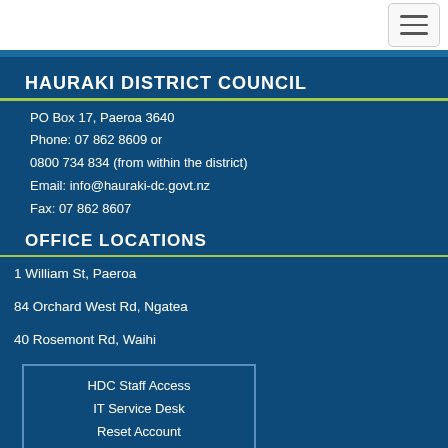HAURAKI DISTRICT COUNCIL
PO Box 17, Paeroa 3640
Phone: 07 862 8609 or
0800 734 834 (from within the district)
Email: info@hauraki-dc.govt.nz
Fax: 07 862 8607
OFFICE LOCATIONS
1 William St, Paeroa
84 Orchard West Rd, Ngatea
40 Rosemont Rd, Waihi
| HDC Staff Access |
| IT Service Desk |
| Reset Account |
| Outlook Web Email |
LIBRARY LOCATIONS